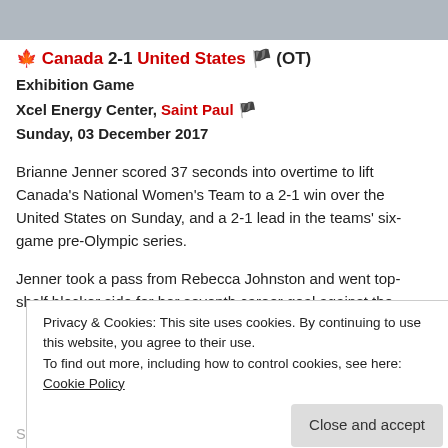[Figure (photo): Partial photo strip at top of page, appears to show hockey players]
🍁 Canada 2-1 United States 🇺🇸 (OT)
Exhibition Game
Xcel Energy Center, Saint Paul 🇺🇸
Sunday, 03 December 2017
Brianne Jenner scored 37 seconds into overtime to lift Canada's National Women's Team to a 2-1 win over the United States on Sunday, and a 2-1 lead in the teams' six-game pre-Olympic series.
Jenner took a pass from Rebecca Johnston and went top-shelf blocker side for her seventh career goal against the
Privacy & Cookies: This site uses cookies. By continuing to use this website, you agree to their use.
To find out more, including how to control cookies, see here: Cookie Policy
Shannon Szabados made 27 saves in the win.